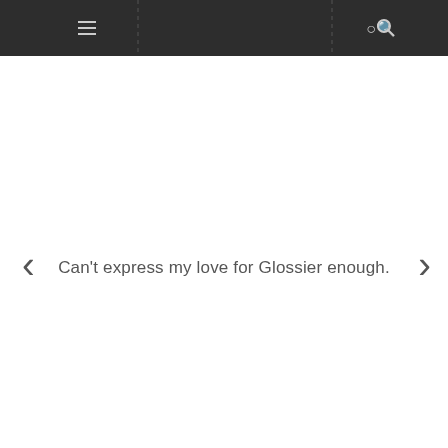Can't express my love for Glossier enough.